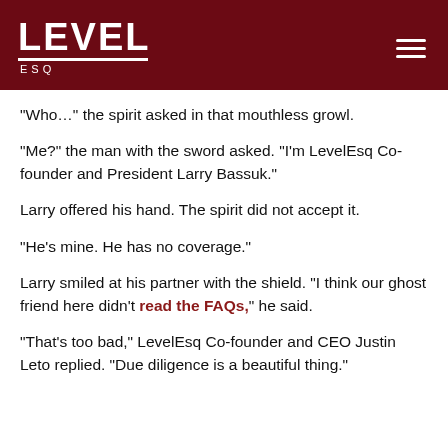LEVEL ESQ
"Who…" the spirit asked in that mouthless growl.
"Me?" the man with the sword asked. "I'm LevelEsq Co-founder and President Larry Bassuk."
Larry offered his hand. The spirit did not accept it.
"He's mine. He has no coverage."
Larry smiled at his partner with the shield. "I think our ghost friend here didn't read the FAQs," he said.
"That's too bad," LevelEsq Co-founder and CEO Justin Leto replied. "Due diligence is a beautiful thing."